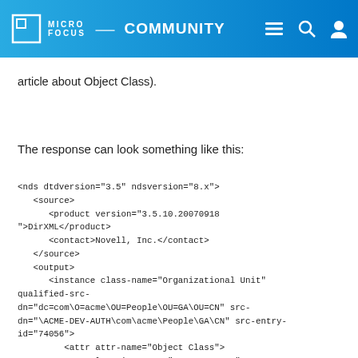Micro Focus Community
article about Object Class).
The response can look something like this:
<nds dtdversion="3.5" ndsversion="8.x">
   <source>
      <product version="3.5.10.20070918
">DirXML</product>
      <contact>Novell, Inc.</contact>
   </source>
   <output>
      <instance class-name="Organizational Unit"
qualified-src-dn="dc=com\O=acme\OU=People\OU=GA\OU=CN" src-dn="\ACME-DEV-AUTH\com\acme\People\GA\CN" src-entry-id="74056">
         <attr attr-name="Object Class">
            <value timestamp="1207772827#7"
type="string">Organizational Unit</value>
            <value timestamp="1207772827#8"
type="string">ndsLoginProperties</value>
            <value timestamp="1207772827#9"
type="string">ndsContainerLoginProperties</value>
            <value timestamp="1207772827#10">